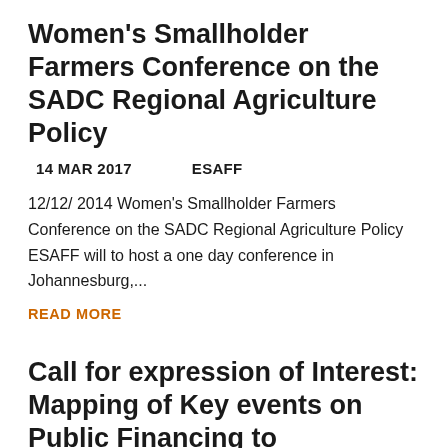Women's Smallholder Farmers Conference on the SADC Regional Agriculture Policy
14 MAR 2017    ESAFF
12/12/ 2014 Women's Smallholder Farmers Conference on the SADC Regional Agriculture Policy ESAFF will to host a one day conference in Johannesburg,...
READ MORE
Call for expression of Interest: Mapping of Key events on Public Financing to Agriculture, National Budget Meetings and Country Level CAADP Processes